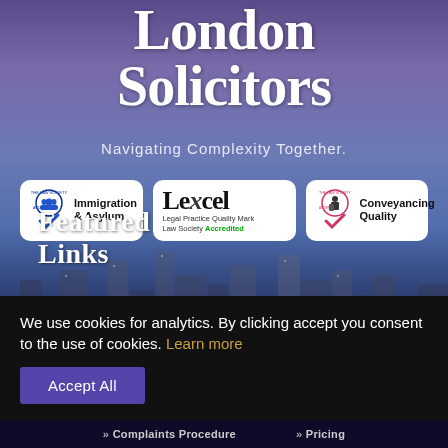London Solicitors
Navigating Complexity Together.
[Figure (logo): The Law Society Accredited – Immigration & Asylum badge with circular blue logo]
[Figure (logo): Lexcel Legal Practice Quality Mark – Law Society Accredited badge with green checkmark]
[Figure (logo): The Law Society Accredited – Conveyancing Quality badge with pink circular logo]
Featured Links
We use cookies for analytics. By clicking accept you consent to the use of cookies. Learn more
Accept All
» Complaints Procedure   » Pricing